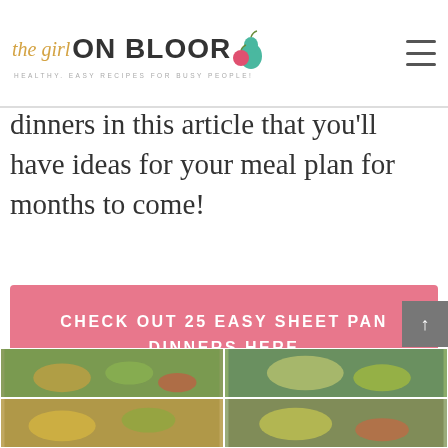the girl ON BLOOR — HEALTHY, EASY RECIPES FOR BUSY PEOPLE!
dinners in this article that you'll have ideas for your meal plan for months to come!
CHECK OUT 25 EASY SHEET PAN DINNERS HERE
[Figure (photo): Grid of 4 food photos showing sheet pan dinners at the bottom of the page]